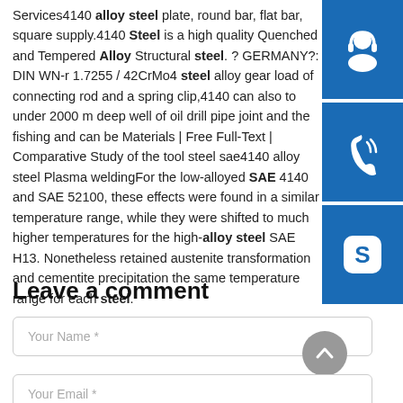Services4140 alloy steel plate, round bar, flat bar, square supply.4140 Steel is a high quality Quenched and Tempered Alloy Structural steel. ? GERMANY?: DIN WN-r 1.7255 / 42CrMo4 steel alloy gear load of connecting rod and a spring clip,4140 can also to under 2000 m deep well of oil drill pipe joint and the fishing and can be Materials | Free Full-Text | Comparative Study of the tool steel sae4140 alloy steel Plasma weldingFor the low-alloyed SAE 4140 and SAE 52100, these effects were found in a similar temperature range, while they were shifted to much higher temperatures for the high-alloy steel SAE H13. Nonetheless retained austenite transformation and cementite precipitation the same temperature range for each steel.
[Figure (infographic): Three blue sidebar buttons with white icons: headset/support icon, phone/call icon, and Skype logo icon]
Leave a comment
[Figure (other): Gray circular scroll-to-top button with upward chevron arrow]
Your Name *
Your Email *